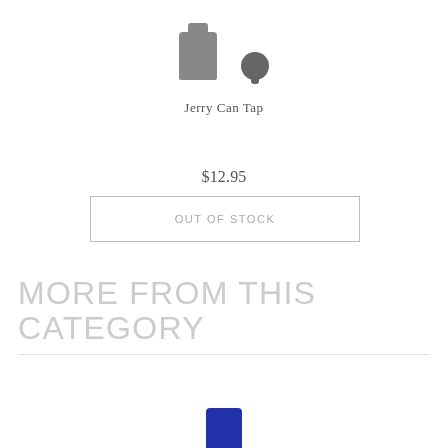[Figure (photo): Product images of a Jerry Can Tap — a small dark metal/plastic can and a rounded tap fitting, shown from above on white background, partially cropped at top of page]
Jerry Can Tap
$12.95
OUT OF STOCK
MORE FROM THIS CATEGORY
[Figure (photo): Partial product image at bottom of page showing a blue item, cropped]